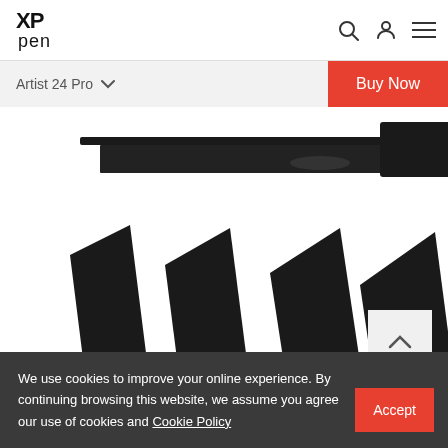[Figure (logo): XP-Pen logo in top left of header]
[Figure (illustration): Header navigation icons: search, user/account, and hamburger menu]
Artist 24 Pro
Buy Now
[Figure (photo): Top portion of XP-Pen Artist 24 Pro drawing tablet shown from side/top angle against white background]
[Figure (photo): XP-Pen Artist 24 Pro drawing tablet shown in multiple tilt/angle positions side by side against white background]
We use cookies to improve your online experience. By continuing browsing this website, we assume you agree our use of cookies and Cookie Policy
Accept